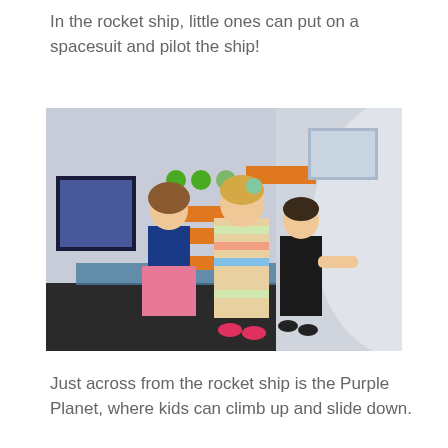In the rocket ship, little ones can put on a spacesuit and pilot the ship!
[Figure (photo): Children standing inside a rocket ship exhibit, interacting with control panels featuring orange rectangular buttons, green circular buttons, and a screen. Three kids are visible — a girl in a striped dress with a floral headband, a child in a navy outfit, and a boy in black. The interior walls are light grey/purple with blue accents.]
Just across from the rocket ship is the Purple Planet, where kids can climb up and slide down.